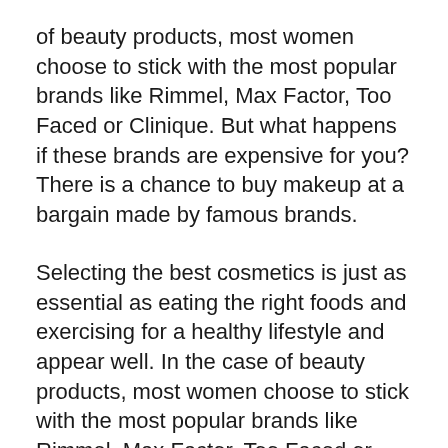of beauty products, most women choose to stick with the most popular brands like Rimmel, Max Factor, Too Faced or Clinique. But what happens if these brands are expensive for you? There is a chance to buy makeup at a bargain made by famous brands.
Selecting the best cosmetics is just as essential as eating the right foods and exercising for a healthy lifestyle and appear well. In the case of beauty products, most women choose to stick with the most popular brands like Rimmel, Max Factor, Too Faced or Clinique. However, what happens if these brands aren't affordable for you? There is a chance to purchase cheap makeup items produced by famous companiescustom